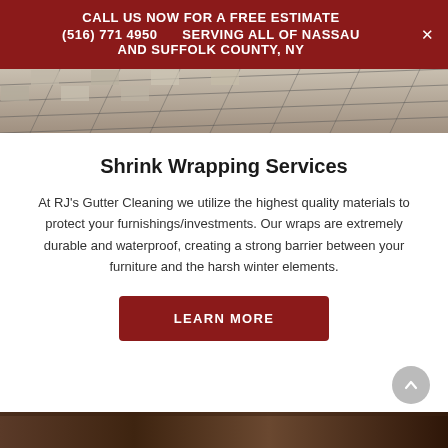CALL US NOW FOR A FREE ESTIMATE (516) 771 4950    SERVING ALL OF NASSAU AND SUFFOLK COUNTY, NY
[Figure (photo): Aerial or close-up photo of stone/slate tile paving with grid lines]
Shrink Wrapping Services
At RJ's Gutter Cleaning we utilize the highest quality materials to protect your furnishings/investments. Our wraps are extremely durable and waterproof, creating a strong barrier between your furniture and the harsh winter elements.
LEARN MORE
[Figure (photo): Bottom partial photo, appears to show dark textured surface or material]